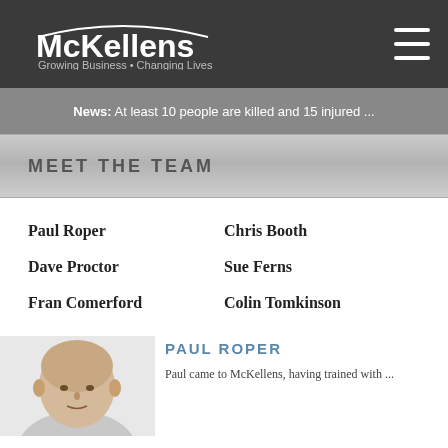[Figure (logo): McKellens logo with arc above text and tagline 'Growing Business • Changing Lives' on dark background]
News: At least 10 people are killed and 15 injured ...
MEET THE TEAM
Paul Roper
Chris Booth
Dave Proctor
Sue Ferns
Fran Comerford
Colin Tomkinson
[Figure (photo): Headshot photo of Paul Roper, a middle-aged bald man]
PAUL ROPER
Paul came to McKellens, having trained with ...